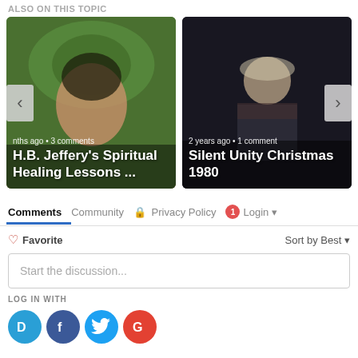ALSO ON THIS TOPIC
[Figure (photo): Thumbnail card: woman outdoors among green foliage with text overlay 'H.B. Jeffery's Spiritual Healing Lessons ...' and meta 'nths ago • 3 comments']
[Figure (photo): Thumbnail card: elderly man with white hair laughing at microphone, dark background, text overlay 'Silent Unity Christmas 1980' and meta '2 years ago • 1 comment']
Comments  Community  Privacy Policy  Login
Favorite  Sort by Best
Start the discussion...
LOG IN WITH
[Figure (logo): Social login icons: Disqus (blue), Facebook (dark blue), Twitter (light blue), Google (red)]